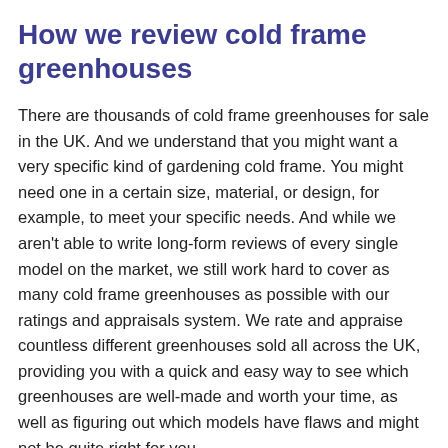How we review cold frame greenhouses
There are thousands of cold frame greenhouses for sale in the UK. And we understand that you might want a very specific kind of gardening cold frame. You might need one in a certain size, material, or design, for example, to meet your specific needs. And while we aren't able to write long-form reviews of every single model on the market, we still work hard to cover as many cold frame greenhouses as possible with our ratings and appraisals system. We rate and appraise countless different greenhouses sold all across the UK, providing you with a quick and easy way to see which greenhouses are well-made and worth your time, as well as figuring out which models have flaws and might not be quite right for you.